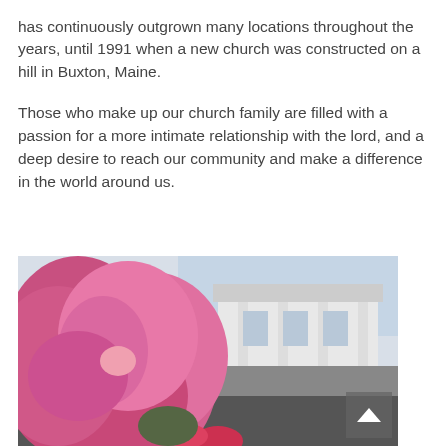has continuously outgrown many locations throughout the years, until 1991 when a new church was constructed on a hill in Buxton, Maine.
Those who make up our church family are filled with a passion for a more intimate relationship with the lord, and a deep desire to reach our community and make a difference in the world around us.
[Figure (photo): Photo of pink flowers in the foreground with a white church building visible in the background, along with a parking area. A back-to-top button with an upward arrow is overlaid at the bottom right of the image.]